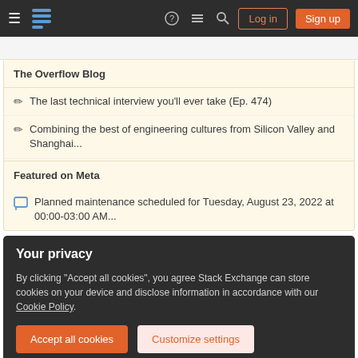Stack Exchange navigation bar with Log in and Sign up buttons
The Overflow Blog
The last technical interview you'll ever take (Ep. 474)
Combining the best of engineering cultures from Silicon Valley and Shanghai...
Featured on Meta
Planned maintenance scheduled for Tuesday, August 23, 2022 at 00:00-03:00 AM...
Your privacy
By clicking "Accept all cookies", you agree Stack Exchange can store cookies on your device and disclose information in accordance with our Cookie Policy.
Linked